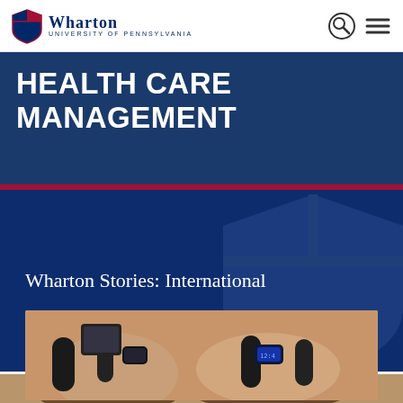Wharton | University of Pennsylvania
HEALTH CARE MANAGEMENT
Wharton Stories: International
[Figure (photo): Close-up photo of person's hands gripping exercise bike handlebars, wearing a sports watch/fitness tracker]